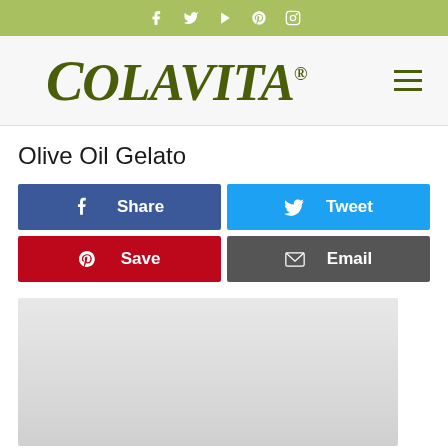Social media icons bar: Facebook, Twitter, Play, Pinterest, Instagram
[Figure (logo): Colavita logo in dark olive green serif italic text with registered trademark symbol, on light gray background, with hamburger menu icon on right]
Olive Oil Gelato
[Figure (infographic): Share buttons grid: Facebook Share (blue), Twitter Tweet (light blue), Pinterest Save (red), Email (dark gray)]
[Figure (photo): Partially visible light gray/white photo placeholder at the bottom of the page]